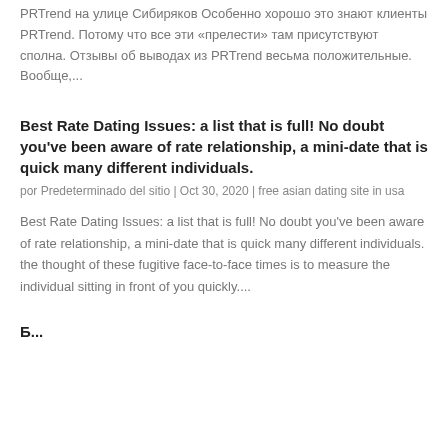PRTrend на улице Сибиряков Особенно хорошо это знают клиенты PRTrend. Потому что все эти «прелести» там присутствуют сполна. Отзывы об выводах из PRTrend весьма положительные. Вообще,...
Best Rate Dating Issues: a list that is full! No doubt you've been aware of rate relationship, a mini-date that is quick many different individuals.
por Predeterminado del sitio | Oct 30, 2020 | free asian dating site in usa
Best Rate Dating Issues: a list that is full! No doubt you've been aware of rate relationship, a mini-date that is quick many different individuals. the thought of these fugitive face-to-face times is to measure the individual sitting in front of you quickly....
Б...